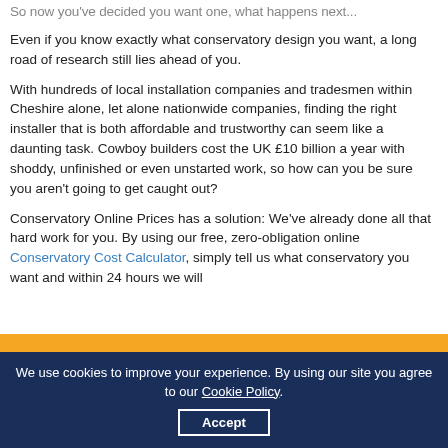So now you've decided you want one, what happens next...
Even if you know exactly what conservatory design you want, a long road of research still lies ahead of you.
With hundreds of local installation companies and tradesmen within Cheshire alone, let alone nationwide companies, finding the right installer that is both affordable and trustworthy can seem like a daunting task. Cowboy builders cost the UK £10 billion a year with shoddy, unfinished or even unstarted work, so how can you be sure you aren't going to get caught out?
Conservatory Online Prices has a solution: We've already done all that hard work for you. By using our free, zero-obligation online Conservatory Cost Calculator, simply tell us what conservatory you want and within 24 hours we will
We use cookies to improve your experience. By using our site you agree to our Cookie Policy. Accept